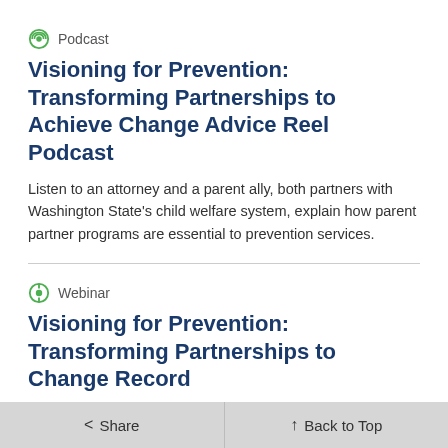Podcast
Visioning for Prevention: Transforming Partnerships to Achieve Change Advice Reel Podcast
Listen to an attorney and a parent ally, both partners with Washington State's child welfare system, explain how parent partner programs are essential to prevention services.
Webinar
Visioning for Prevention: Transforming Partnerships to Change Record
Learn how the Children's Home Society of
< Share   Back to Top